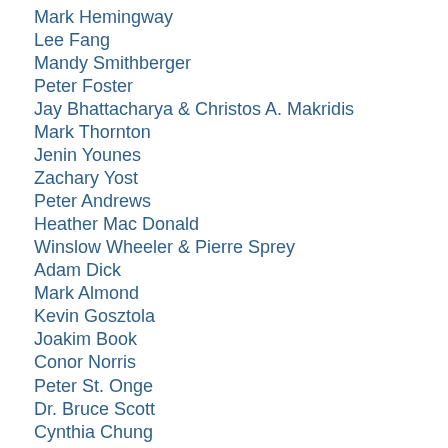Mark Hemingway
Lee Fang
Mandy Smithberger
Peter Foster
Jay Bhattacharya & Christos A. Makridis
Mark Thornton
Jenin Younes
Zachary Yost
Peter Andrews
Heather Mac Donald
Winslow Wheeler & Pierre Sprey
Adam Dick
Mark Almond
Kevin Gosztola
Joakim Book
Conor Norris
Peter St. Onge
Dr. Bruce Scott
Cynthia Chung
Donald J. Boudreaux
Bretigne Shaffer
Dr Sunetra Gupta, Dr Jay Bhattacharya, and Dr Martin Kulldorff
Matthew Ehret